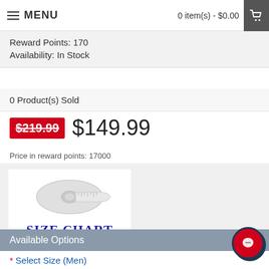MENU   0 item(s) - $0.00
Reward Points: 170
Availability: In Stock
0 Product(s) Sold
$219.99  $149.99
Price in reward points: 17000
[Figure (illustration): Size chart icon showing a rolled measuring tape above the text SIZE CHART in bold blue serif letters]
Available Options
* Select Size (Men)